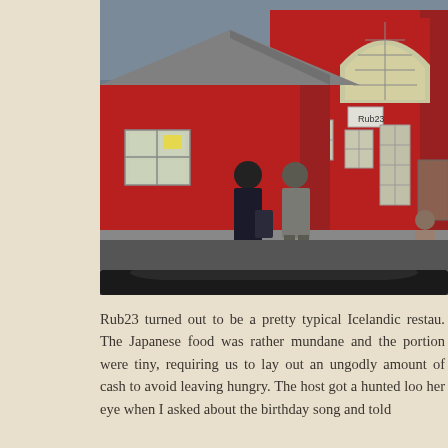[Figure (photo): Photo of a red building with a peaked roof and arched window, taken from inside a car. Two or three people are standing on the sidewalk in front of the building. The building has white-framed windows and a sign reading 'Rub23'.]
Rub23 turned out to be a pretty typical Icelandic restau... The Japanese food was rather mundane and the portion were tiny, requiring us to lay out an ungodly amount of cash to avoid leaving hungry. The host got a hunted look in her eye when I asked about the birthday song and told ... she wouldn't be doing any song...